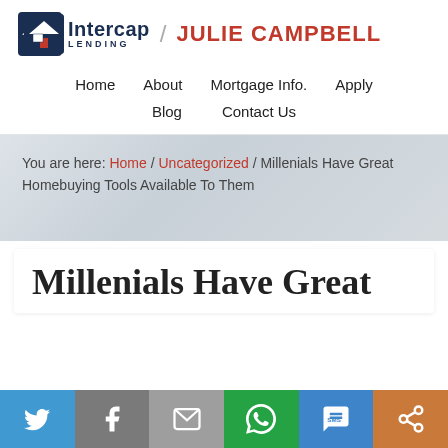[Figure (logo): Intercap Lending logo with house icon and Julie Campbell name in red]
Home  About  Mortgage Info.  Apply  Blog  Contact Us
You are here: Home / Uncategorized / Millenials Have Great Homebuying Tools Available To Them
Millenials Have Great
[Figure (other): Social share bar with Twitter, Facebook, Email, WhatsApp, SMS, and More buttons]